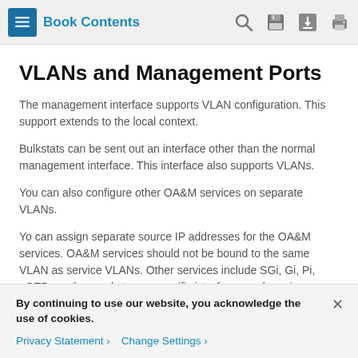Book Contents
VLANs and Management Ports
The management interface supports VLAN configuration. This support extends to the local context.
Bulkstats can be sent out an interface other than the normal management interface. This interface also supports VLANs.
You can also configure other OA&M services on separate VLANs.
Yo can assign separate source IP addresses for the OA&M services. OA&M services should not be bound to the same VLAN as service VLANs. Other services include SGi, Gi, Pi, eGTP or other packet core-specific interfaces and services.
By continuing to use our website, you acknowledge the use of cookies.
Privacy Statement   Change Settings